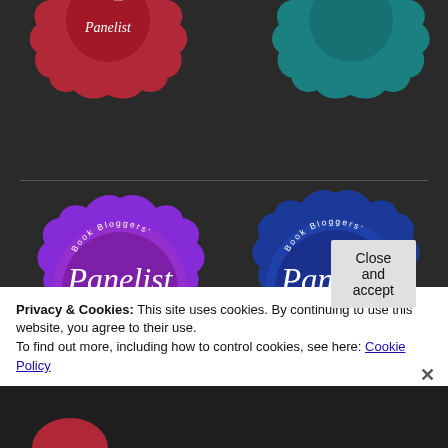[Figure (illustration): Red wax seal badge (top left, partially cropped) - Book Bloggers' Novel of the Year Award]
[Figure (illustration): Teal/turquoise wax seal badge (top right, partially cropped) - Book Bloggers' Novel of the Year Award]
[Figure (illustration): Purple wax seal badge: Book Bloggers' Panelist 2021 Novel of the Year Award]
[Figure (illustration): Blue wax seal badge: Book Bloggers' Panelist 2022 Novel of the Year Award]
Privacy & Cookies: This site uses cookies. By continuing to use this website, you agree to their use.
To find out more, including how to control cookies, see here: Cookie Policy
Close and accept